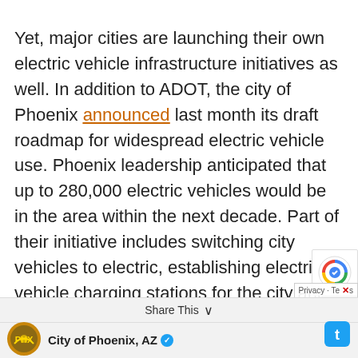Yet, major cities are launching their own electric vehicle infrastructure initiatives as well. In addition to ADOT, the city of Phoenix announced last month its draft roadmap for widespread electric vehicle use. Phoenix leadership anticipated that up to 280,000 electric vehicles would be in the area within the next decade. Part of their initiative includes switching city vehicles to electric, establishing electric vehicle charging stations for the city and its employees, and updating the zoning ordinance and building codes by 2025 to standardize electric vehicle charging access
[Figure (logo): City of Phoenix, AZ logo (gold and blue circular emblem) with verified blue checkmark badge]
Share This  City of Phoenix, AZ